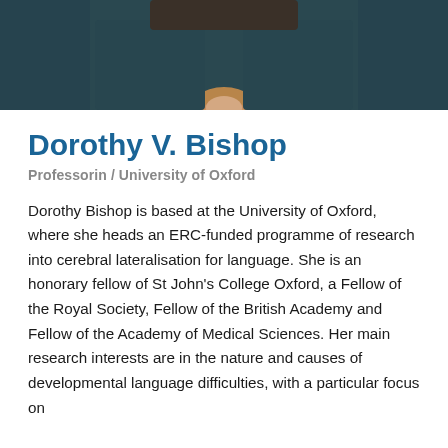[Figure (photo): Partial photo of Dorothy V. Bishop, showing shoulders and lower face area, wearing a dark knit sweater with an orange/tan scarf or collar visible.]
Dorothy V. Bishop
Professorin / University of Oxford
Dorothy Bishop is based at the University of Oxford, where she heads an ERC-funded programme of research into cerebral lateralisation for language. She is an honorary fellow of St John's College Oxford, a Fellow of the Royal Society, Fellow of the British Academy and Fellow of the Academy of Medical Sciences. Her main research interests are in the nature and causes of developmental language difficulties, with a particular focus on